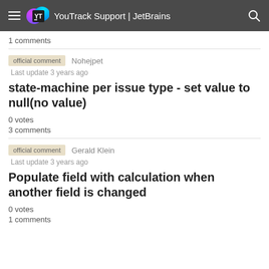YouTrack Support | JetBrains
1 comments
official comment   Nohejpet
Last update 3 years ago
state-machine per issue type - set value to null(no value)
0 votes
3 comments
official comment   Gerald Klein
Last update 3 years ago
Populate field with calculation when another field is changed
0 votes
1 comments